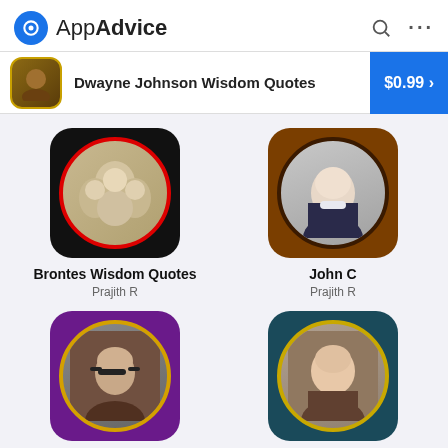AppAdvice
Dwayne Johnson Wisdom Quotes $0.99
[Figure (screenshot): App icon for Brontes Wisdom Quotes - black background with red-bordered circular portrait of three women in vintage style]
Brontes Wisdom Quotes
Prajith R
[Figure (screenshot): App icon for John C - brown background with dark-bordered circular portrait of a smiling grey-haired man in suit]
John C
Prajith R
[Figure (screenshot): App icon for Chogyam Trungpa Wisdom Quotes - purple background with yellow-bordered circular portrait of an Asian man with glasses]
Chogyam Trungpa Wisdom Quotes
Prajith R
[Figure (screenshot): App icon for Wisdom of Eckhart Tolle - teal/dark blue background with gold-bordered circular portrait of a smiling bald man]
Wisdom of Eckhart Tolle
Prajith R